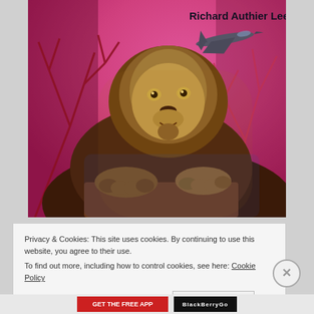[Figure (illustration): Book cover image showing a golden lion statue in the foreground against a vivid pink/magenta sky with bare red tree branches. A military jet aircraft flies in the upper right. Author name 'Richard Authier Lee' appears in the upper right area of the cover.]
Privacy & Cookies: This site uses cookies. By continuing to use this website, you agree to their use.
To find out more, including how to control cookies, see here: Cookie Policy
Close and accept